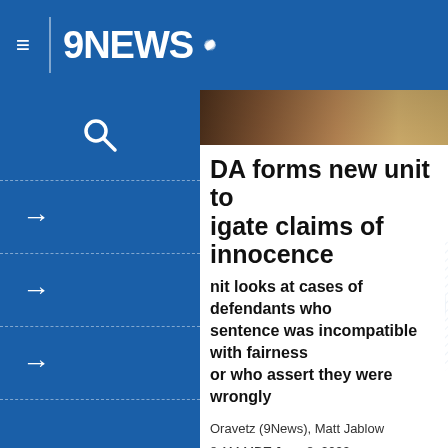[Figure (screenshot): 9NEWS logo with NBC peacock icon on blue navigation bar]
DA forms new unit to investigate claims of innocence
The unit looks at cases of defendants who claim their sentence was incompatible with fairness or who assert they were wrongly convicted.
Oravetz (9News), Matt Jablow
8 AM MDT June 8, 2022
8 AM MDT June 9, 2022
A unit launched within the Denver District